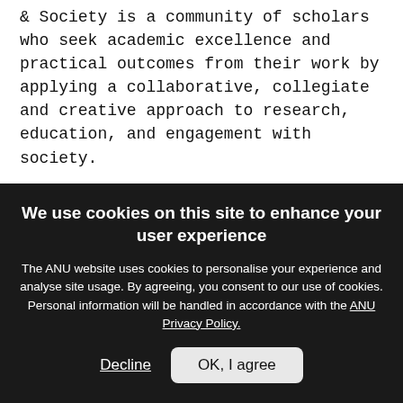& Society is a community of scholars who seek academic excellence and practical outcomes from their work by applying a collaborative, collegiate and creative approach to research, education, and engagement with society.
Statement of Purpose
Our purpose is to help develop a more environmentally sustainable world. We draw on a culture of cross-sectoral and cross-
We use cookies on this site to enhance your user experience
The ANU website uses cookies to personalise your experience and analyse site usage. By agreeing, you consent to our use of cookies. Personal information will be handled in accordance with the ANU Privacy Policy.